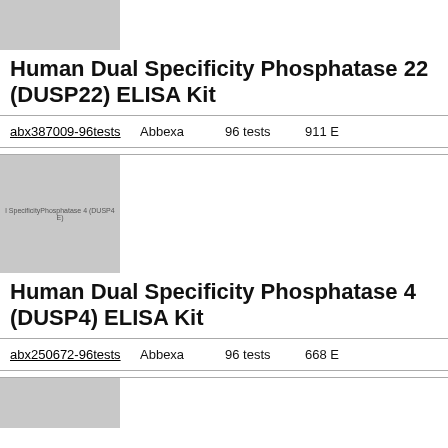[Figure (photo): Partial product image for Human Dual Specificity Phosphatase 22 ELISA Kit, gray placeholder]
Human Dual Specificity Phosphatase 22 (DUSP22) ELISA Kit
abx387009-96tests   Abbexa   96 tests   911 E
[Figure (photo): Product image for Human Dual Specificity Phosphatase 4 (DUSP4E) ELISA Kit, gray placeholder with label text visible]
Human Dual Specificity Phosphatase 4 (DUSP4) ELISA Kit
abx250672-96tests   Abbexa   96 tests   668 E
[Figure (photo): Partial product image at bottom of page, gray placeholder]